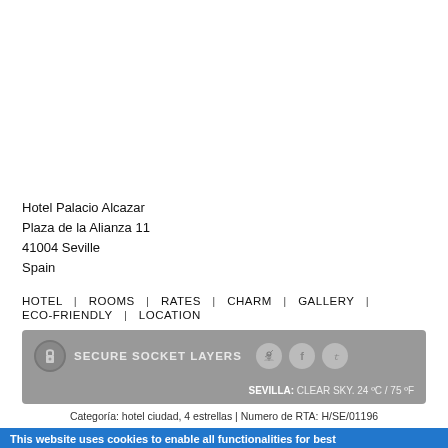Hotel Palacio Alcazar
Plaza de la Alianza 11
41004 Seville
Spain
HOTEL  |  ROOMS  |  RATES  |  CHARM  |  GALLERY  |  ECO-FRIENDLY  |  LOCATION
[Figure (infographic): Grey security bar with lock icon, SECURE SOCKET LAYERS text, RSS, Facebook, Twitter social icons, and weather info: SEVILLA: CLEAR SKY. 24 ºC / 75 ºF]
Categoría: hotel ciudad, 4 estrellas | Numero de RTA: H/SE/01196
This website uses cookies to enable all functionalities for best